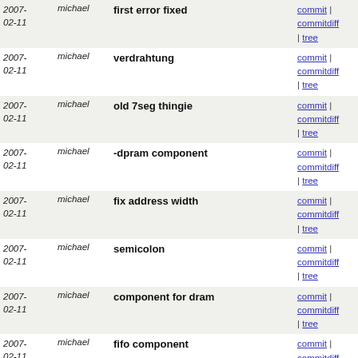| date | author | message | links |
| --- | --- | --- | --- |
| 2007-02-11 | michael | first error fixed | commit | commitdiff | tree |
| 2007-02-11 | michael | verdrahtung | commit | commitdiff | tree |
| 2007-02-11 | michael | old 7seg thingie | commit | commitdiff | tree |
| 2007-02-11 | michael | -dpram component | commit | commitdiff | tree |
| 2007-02-11 | michael | fix address width | commit | commitdiff | tree |
| 2007-02-11 | michael | semicolon | commit | commitdiff | tree |
| 2007-02-11 | michael | component for dram | commit | commitdiff | tree |
| 2007-02-11 | michael | fifo component | commit | commitdiff | tree |
| 2007-02-11 | michael | fix dependencies | commit | commitdiff | tree |
| 2007-02-11 | michael | move common files to common subdir | commit | commitdiff | tree |
| 2007-02-11 | michael | common makefile | commit | commitdiff | tree |
| 2007-02-11 | michael | do not try to use $$... | commit | commitdiff | tree |
| 2007-02-11 | michael | make it possible to specify the jtag cable in the environmen... | commit | commitdiff | tree |